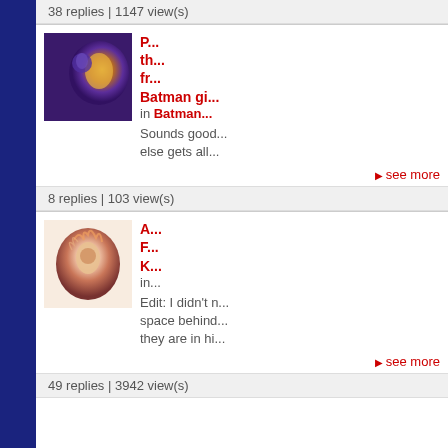38 replies | 1147 view(s)
[Figure (illustration): Comic book style thumbnail showing characters with fire/energy effects on purple background]
P... th... fr... Batman gi... in Batman...
Sounds good... else gets all...
see more
8 replies | 103 view(s)
[Figure (illustration): Comic book style thumbnail showing a character with flame/light aura in reddish tones]
A... F... K... in...
Edit: I didn't n... space behind... they are in hi...
see more
49 replies | 3942 view(s)